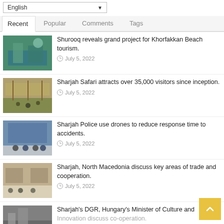English
Recent | Popular | Comments | Tags
Shurooq reveals grand project for Khorfakkan Beach tourism. — July 5, 2022
Sharjah Safari attracts over 35,000 visitors since inception. — July 5, 2022
Sharjah Police use drones to reduce response time to accidents. — July 5, 2022
Sharjah, North Macedonia discuss key areas of trade and cooperation. — July 5, 2022
Sharjah's DGR, Hungary's Minister of Culture and Innovation discuss cooperation.